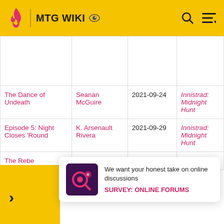MTG WIKI
| Title | Author | Date | Set |
| --- | --- | --- | --- |
|  |  |  |  |
| The Dance of Undeath | Seanan McGuire | 2021-09-24 | Innistrad: Midnight Hunt |
| Episode 5: Night Closes 'Round | K. Arsenault Rivera | 2021-09-29 | Innistrad: Midnight Hunt |
| The Rebe... |  |  | ...trad: ...ight |
We want your honest take on online discussions SURVEY: ONLINE FORUMS